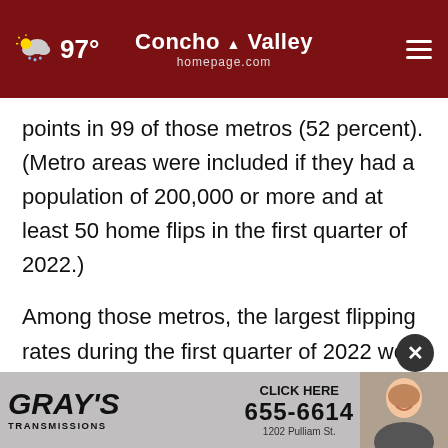97° | Concho Valley homepage.com
points in 99 of those metros (52 percent). (Metro areas were included if they had a population of 200,000 or more and at least 50 home flips in the first quarter of 2022.)
Among those metros, the largest flipping rates during the first quarter of 2022 were in Phoenix, AZ (flips comprised 18.7 percent of all home sales); Charlotte, NC (18 percent); Tucson, AZ (16.2 percent); Atlanta, GA (16.1 percent); and Jacks...
[Figure (screenshot): Gray's Transmissions advertisement banner: GRAY'S CLICK HERE 655-6614 TRANSMISSIONS 1202 Pulliam St. with a photo of a smiling woman]